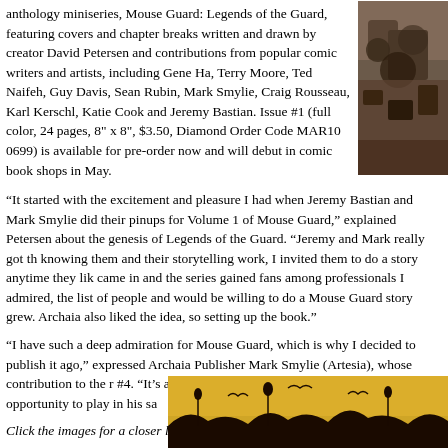anthology miniseries, Mouse Guard: Legends of the Guard, featuring covers and chapter breaks written and drawn by creator David Petersen and contributions from popular comic writers and artists, including Gene Ha, Terry Moore, Ted Naifeh, Guy Davis, Sean Rubin, Mark Smylie, Craig Rousseau, Karl Kerschl, Katie Cook and Jeremy Bastian. Issue #1 (full color, 24 pages, 8" x 8", $3.50, Diamond Order Code MAR10 0699) is available for pre-order now and will debut in comic book shops in May.
[Figure (illustration): Book cover illustration showing a textured stone/rock surface with dark tones, partial view of Mouse Guard artwork]
“It started with the excitement and pleasure I had when Jeremy Bastian and Mark Smylie did their pinups for Volume 1 of Mouse Guard,” explained Petersen about the genesis of Legends of the Guard. “Jeremy and Mark really got th knowing them and their storytelling work, I invited them to do a story anytime they lik came in and the series gained fans among professionals I admired, the list of people and would be willing to do a Mouse Guard story grew. Archaia also liked the idea, so setting up the book.”
“I have such a deep admiration for Mouse Guard, which is why I decided to publish it ago,” expressed Archaia Publisher Mark Smylie (Artesia), whose contribution to the r #4. “It’s an honor and a privilege for David to give me this opportunity to play in his sa
Click the images for a closer look:
[Figure (illustration): Bottom image showing silhouettes of birds/mice against a warm golden/amber sunset background]